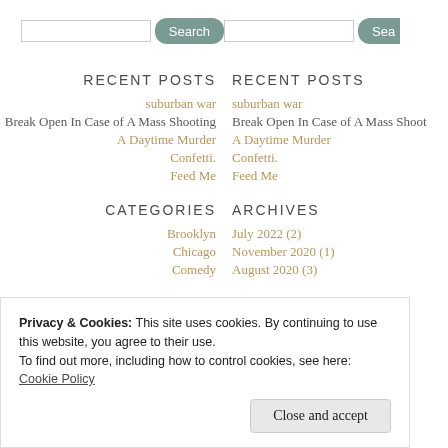Search [input] Search [input]
RECENT POSTS
RECENT POSTS
suburban war
suburban war
Break Open In Case of A Mass Shooting
Break Open In Case of A Mass Shoot
A Daytime Murder
A Daytime Murder
Confetti.
Confetti.
Feed Me
Feed Me
CATEGORIES
ARCHIVES
Brooklyn
July 2022 (2)
Chicago
November 2020 (1)
Comedy
August 2020 (3)
Privacy & Cookies: This site uses cookies. By continuing to use this website, you agree to their use.
To find out more, including how to control cookies, see here: Cookie Policy
Close and accept